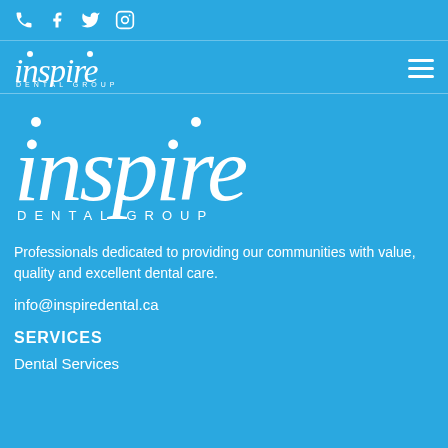[Figure (other): Social media icons: phone, Facebook, Twitter, Instagram]
[Figure (logo): Inspire Dental Group small logo in header nav bar]
[Figure (logo): Inspire Dental Group large logo with two dots above i and p]
Professionals dedicated to providing our communities with value, quality and excellent dental care.
info@inspiredental.ca
SERVICES
Dental Services